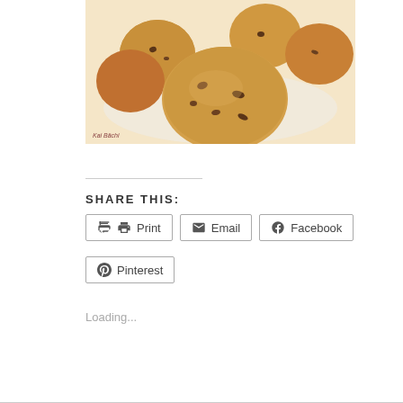[Figure (photo): Photograph of chocolate chip cookies piled on a white plate, golden-brown, with a photo credit 'Kai Bächi' in the lower left corner]
SHARE THIS:
Print
Email
Facebook
Pinterest
Loading...